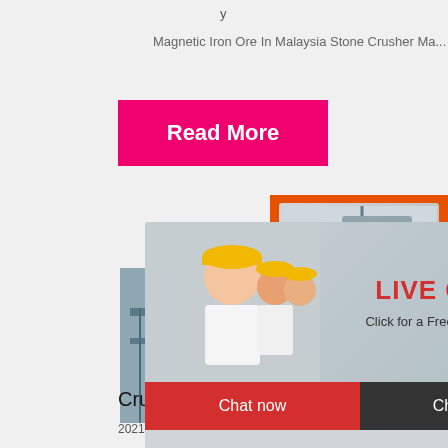y
Magnetic Iron Ore In Malaysia Stone Crusher Ma...
Read More
[Figure (photo): Live chat overlay showing workers in hard hats, LIVE CHAT heading in red, subtitle 'Click for a Free Consultation', with Chat now and Chat later buttons]
[Figure (photo): Industrial crushing plant photo with steel structures]
[Figure (infographic): Right sidebar advertisement on orange background showing mining machinery images, Enjoy 3% discount yellow bar, Click to Chat in yellow, Enquiry section, and limingjlmofen@sina.com contact]
Crushing Plant Rent Sales ...
2021-11-2    IRON ORE OF FE 46% ORI